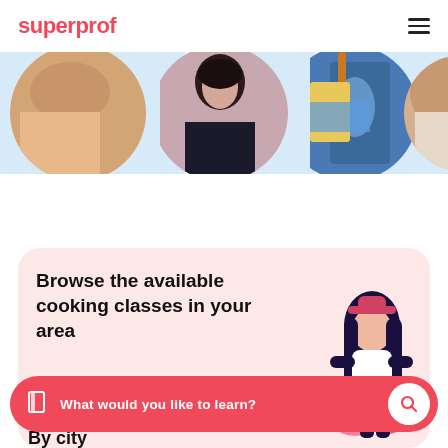superprof
[Figure (photo): Horizontal strip of four circular-cropped portrait photos of tutors/teachers on a light blue background]
Browse the available cooking classes in your area
[Figure (illustration): Cartoon illustration of a woman with dark hair sitting and reading/studying]
What would you like to learn?
By city